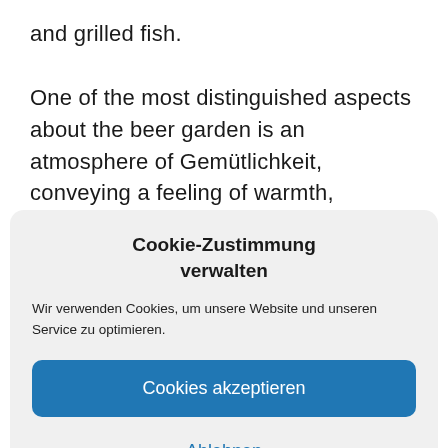and grilled fish.

One of the most distinguished aspects about the beer garden is an atmosphere of Gemütlichkeit, conveying a feeling of warmth, friendliness, and
Cookie-Zustimmung verwalten
Wir verwenden Cookies, um unsere Website und unseren Service zu optimieren.
Cookies akzeptieren
Ablehnen
Einstellungen anzeigen